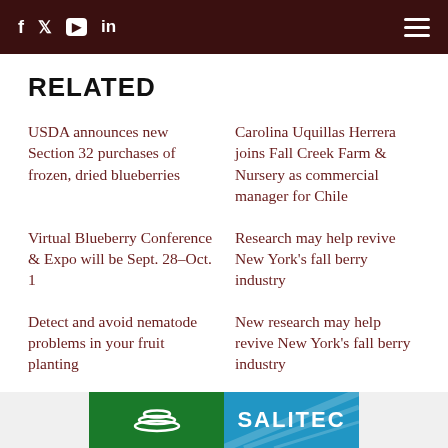f  twitter  youtube  in  ☰
RELATED
USDA announces new Section 32 purchases of frozen, dried blueberries
Carolina Uquillas Herrera joins Fall Creek Farm & Nursery as commercial manager for Chile
Virtual Blueberry Conference & Expo will be Sept. 28–Oct. 1
Research may help revive New York's fall berry industry
Detect and avoid nematode problems in your fruit planting
New research may help revive New York's fall berry industry
[Figure (logo): Partial view of a company logo banner with green and blue background, showing partial text 'SALITEO' or similar]